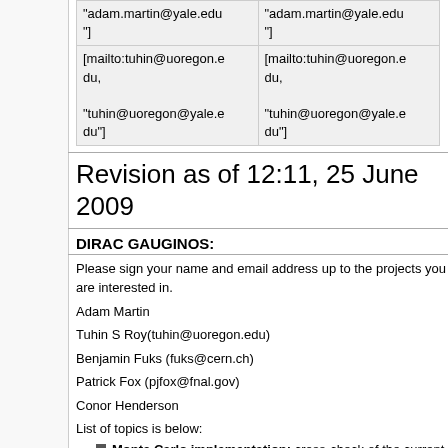| "adam.martin@yale.edu"] | "adam.martin@yale.edu"] |
| [mailto:tuhin@uoregon.edu, "tuhin@uoregon@yale.edu"] | [mailto:tuhin@uoregon.edu, "tuhin@uoregon@yale.edu"] |
Revision as of 12:11, 25 June 2009
DIRAC GAUGINOS:
Please sign your name and email address up to the projects you are interested in.
Adam Martin
Tuhin S Roy(tuhin@uoregon.edu)
Benjamin Fuks (fuks@cern.ch)
Patrick Fox (pjfox@fnal.gov)
Conor Henderson
List of topics is below:
Monte Carlo implementation: cross-check of the current MG/ME and CalcHEP